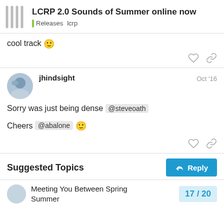LCRP 2.0 Sounds of Summer online now | Releases lcrp
cool track 🙂
jhindsight Oct '16
Sorry was just being dense @steveoath
Cheers @abalone 🙂
Suggested Topics
Meeting You Between Spring Summer
17 / 20